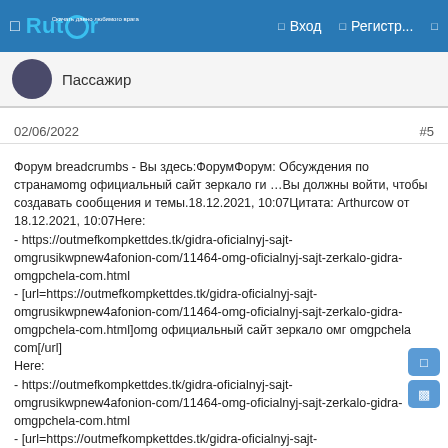Rutor — Вход — Регистр...
Пассажир
02/06/2022  #5
Форум breadcrumbs - Вы здесь:ФорумФорум: Обсуждения по странамomg официальный сайт зеркало ги …Вы должны войти, чтобы создавать сообщения и темы.18.12.2021, 10:07Цитата: Arthurcow от 18.12.2021, 10:07Here:
- https://outmefkompkettdes.tk/gidra-oficialnyj-sajt-omgrusikwpnew4afonion-com/11464-omg-oficialnyj-sajt-zerkalo-gidra-omgpchela-com.html
- [url=https://outmefkompkettdes.tk/gidra-oficialnyj-sajt-omgrusikwpnew4afonion-com/11464-omg-oficialnyj-sajt-zerkalo-gidra-omgpchela-com.html]omg официальный сайт зеркало омг omgpchela com[/url]
Here:
- https://outmefkompkettdes.tk/gidra-oficialnyj-sajt-omgrusikwpnew4afonion-com/11464-omg-oficialnyj-sajt-zerkalo-gidra-omgpchela-com.html
- [url=https://outmefkompkettdes.tk/gidra-oficialnyj-sajt-